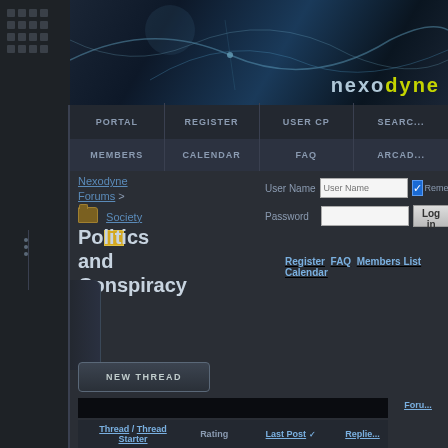[Figure (screenshot): Nexodyne forum website header banner with dark blue abstract wave design and site logo]
PORTAL | REGISTER | USER CP | SEARCH
MEMBERS | CALENDAR | FAQ | ARCADE
Nexodyne Forums > Society
User Name [input] Remember | Password [input] Log in
Politics and Conspiracy
Register  FAQ  Members List  Calendar
NEW THREAD
| Thread / Thread Starter | Rating | Last Post | Replie... |
| --- | --- | --- | --- |